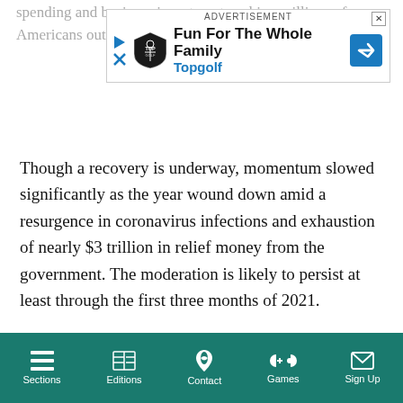spending and business investment pushing millions of Americans out of w…
[Figure (screenshot): Advertisement banner for Topgolf: 'Fun For The Whole Family' with Topgolf logo, play and close icons, and a blue navigation arrow icon. Labeled 'ADVERTISEMENT' at top.]
Though a recovery is underway, momentum slowed significantly as the year wound down amid a resurgence in coronavirus infections and exhaustion of nearly $3 trillion in relief money from the government. The moderation is likely to persist at least through the first three months of 2021.
The economy's prospects hinge on the distribution of vaccines to fight the virus. President Joe Biden has unveiled a recovery plan worth $1.9 trillion, but some lawmakers have balked at the price tag soon after the government provided nearly $900 billion in additional stimulus in late December.
Sections  Editions  Contact  Games  Sign Up